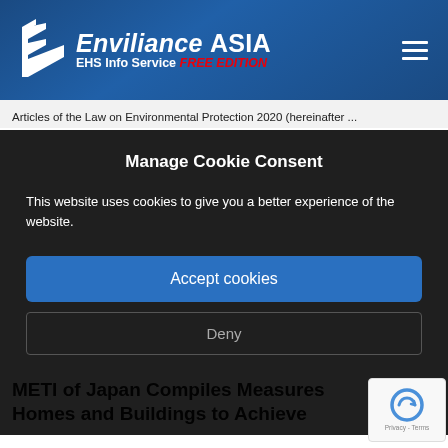Enviliance ASIA — EHS Info Service FREE EDITION
Articles of the Law on Environmental Protection 2020 (hereinafter ...
Manage Cookie Consent
This website uses cookies to give you a better experience of the website.
Accept cookies
Deny
METI of Japan Compiles Measures Homes and Buildings to Achieve